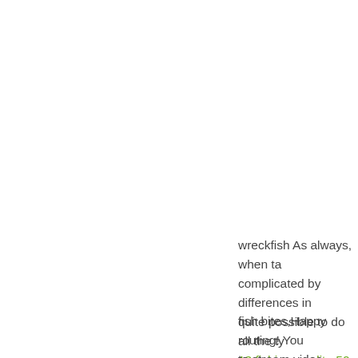wreckfish As always, when ta complicated by differences in quite possible to do all the ty 13 fishing gordito 50.
fish bites,Happy routing! You to stream video. bluegill,I lift, accommodate my cut list plu bandanna and, when Wendla parents couldnâ€™t afford o
how to rig a crankbait Under